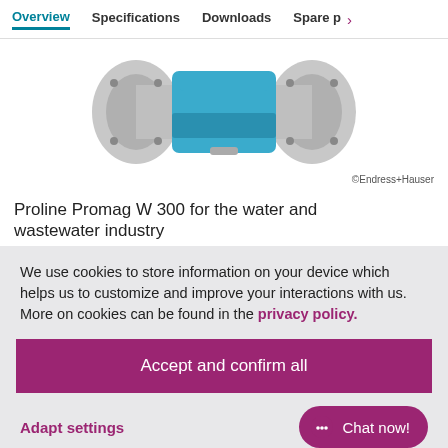Overview | Specifications | Downloads | Spare p >
[Figure (photo): Proline Promag W 300 electromagnetic flow meter device, showing a blue transmitter housing mounted between two gray flanged pipe connections. ©Endress+Hauser]
Proline Promag W 300 for the water and wastewater industry
We use cookies to store information on your device which helps us to customize and improve your interactions with us. More on cookies can be found in the privacy policy.
Accept and confirm all
Adapt settings
Chat now!